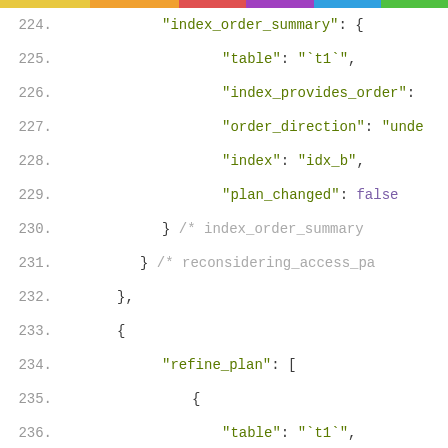Code listing lines 224–240 showing JSON structure with index_order_summary, refine_plan fields
224.   "index_order_summary": {
225.       "table": "`t1`",
226.       "index_provides_order":
227.       "order_direction": "unde
228.       "index": "idx_b",
229.       "plan_changed": false
230.   } /* index_order_summary
231.   } /* reconsidering_access_pa
232.   },
233.   {
234.       "refine_plan": [
235.           {
236.               "table": "`t1`",
237.               "pushed_index_cond
238.               "table_condition_att
239.           }
240.   ] /* refine_plan */